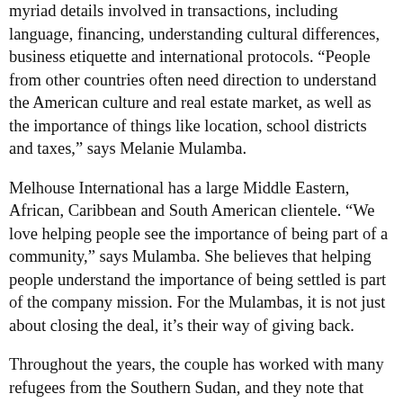myriad details involved in transactions, including language, financing, understanding cultural differences, business etiquette and international protocols. “People from other countries often need direction to understand the American culture and real estate market, as well as the importance of things like location, school districts and taxes,” says Melanie Mulamba.
Melhouse International has a large Middle Eastern, African, Caribbean and South American clientele. “We love helping people see the importance of being part of a community,” says Mulamba. She believes that helping people understand the importance of being settled is part of the company mission. For the Mulambas, it is not just about closing the deal, it’s their way of giving back.
Throughout the years, the couple has worked with many refugees from the Southern Sudan, and they note that many of the families running away from war need to be educated about owning a home and having a sense of community. A good example is a family who was part of the Lost Boys and fleeing war. They were looking to buy a home, and Mulamba helped them craft a letter to the listing agent